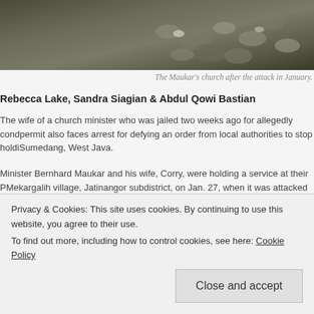[Figure (photo): Photograph of the Maukar's church interior/exterior after an attack, showing scattered dark-colored bags or equipment on the floor.]
The Maukar's church after the attack in January.
Rebecca Lake, Sandra Siagian & Abdul Qowi Bastian
The wife of a church minister who was jailed two weeks ago for allegedly conducting services without a permit also faces arrest for defying an order from local authorities to stop holding services in Sumedang, West Java.
Minister Bernhard Maukar and his wife, Corry, were holding a service at their P Mekargalih village, Jatinangor subdistrict, on Jan. 27, when it was attacked by Defenders Front (FPI), who claimed that the church did not have a valid permi
CCTV footage obtained by the Jakarta Globe shows details of the attack wher me cib de r - Be
Privacy & Cookies: This site uses cookies. By continuing to use this website, you agree to their use.
To find out more, including how to control cookies, see here: Cookie Policy
Close and accept